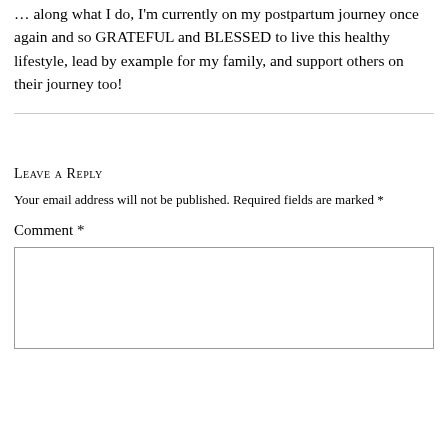... along what I do, I'm currently on my postpartum journey once again and so GRATEFUL and BLESSED to live this healthy lifestyle, lead by example for my family, and support others on their journey too!
Leave a Reply
Your email address will not be published. Required fields are marked *
Comment *